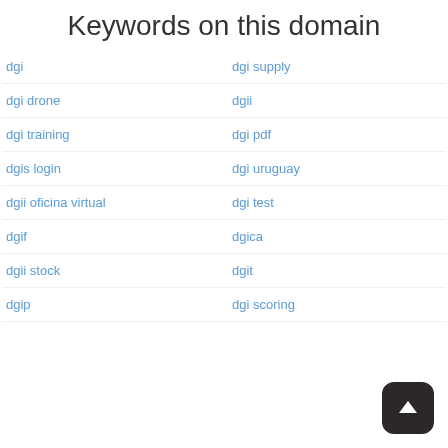Keywords on this domain
dgi
dgi supply
dgi drone
dgii
dgi training
dgi pdf
dgis login
dgi uruguay
dgii oficina virtual
dgi test
dgif
dgica
dgii stock
dgit
dgip
dgi scoring